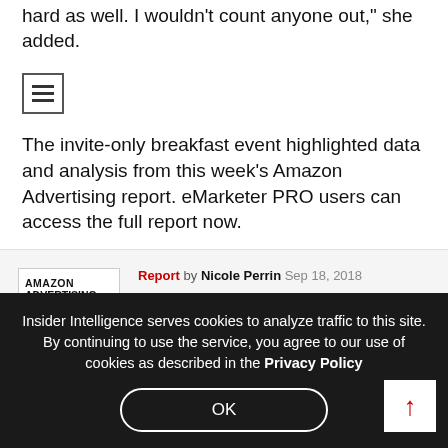hard as well. I wouldn't count anyone out," she added.
[Figure (other): Hamburger menu icon (three horizontal bars inside a rectangle border)]
The invite-only breakfast event highlighted data and analysis from this week's Amazon Advertising report. eMarketer PRO users can access the full report now.
[Figure (other): Thumbnail image of Amazon Advertising 2018 report cover]
Report by Nicole Perrin Sep 18, 2018
Amazon Advertising 2018
Insider Intelligence serves cookies to analyze traffic to this site. By continuing to use the service, you agree to our use of cookies as described in the Privacy Policy
OK